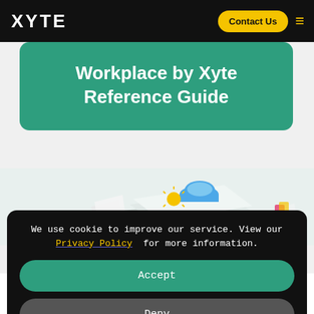XYTE
Workplace by Xyte Reference Guide
[Figure (illustration): Illustration showing app/service icons including Slack-like and cloud icons over layered document graphics]
We use cookie to improve our service. View our Privacy Policy for more information.
Accept
Deny
Revamp Your Workplace Management Today!